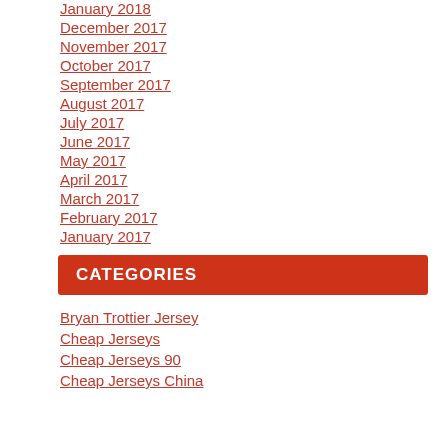January 2018
December 2017
November 2017
October 2017
September 2017
August 2017
July 2017
June 2017
May 2017
April 2017
March 2017
February 2017
January 2017
CATEGORIES
Bryan Trottier Jersey
Cheap Jerseys
Cheap Jerseys 90
Cheap Jerseys China